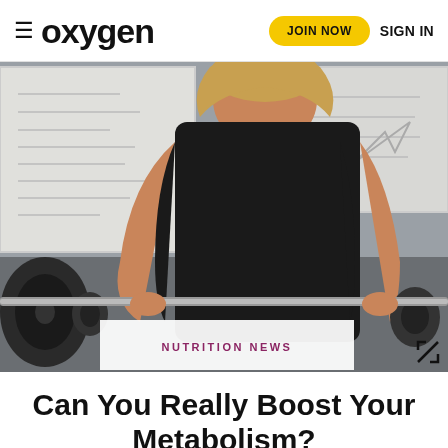oxygen  JOIN NOW  SIGN IN
[Figure (photo): Woman in black tank top performing a deadlift with a heavily loaded barbell in a gym setting with whiteboards in the background]
NUTRITION NEWS
Can You Really Boost Your Metabolism?